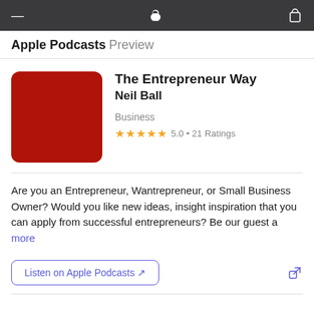Apple Podcasts Preview
[Figure (illustration): Red podcast artwork with rounded corners for The Entrepreneur Way]
The Entrepreneur Way
Neil Ball
Business
★★★★★ 5.0 • 21 Ratings
Are you an Entrepreneur, Wantrepreneur, or Small Business Owner? Would you like new ideas, insight inspiration that you can apply from successful entrepreneurs? Be our guest a more
Listen on Apple Podcasts ↗